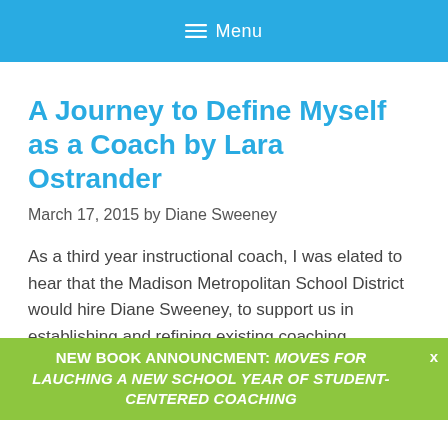≡ Menu
A Journey to Define Myself as a Coach by Lara Ostrander
March 17, 2015 by Diane Sweeney
As a third year instructional coach, I was elated to hear that the Madison Metropolitan School District would hire Diane Sweeney, to support us in establishing and refining existing coaching practices. Up until this year, school-based coaches worked in
NEW BOOK ANNOUNCMENT: MOVES FOR LAUCHING A NEW SCHOOL YEAR OF STUDENT-CENTERED COACHING